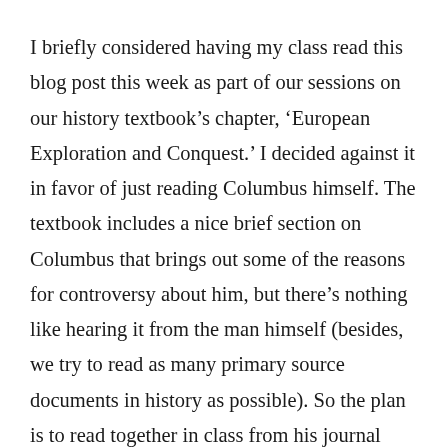I briefly considered having my class read this blog post this week as part of our sessions on our history textbook’s chapter, ‘European Exploration and Conquest.’ I decided against it in favor of just reading Columbus himself. The textbook includes a nice brief section on Columbus that brings out some of the reasons for controversy about him, but there’s nothing like hearing it from the man himself (besides, we try to read as many primary source documents in history as possible). So the plan is to read together in class from his journal entry on 11 Oct. 1492: